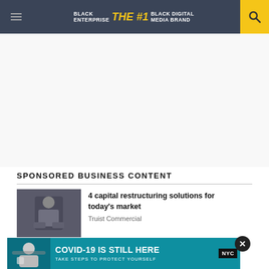BLACK ENTERPRISE THE #1 BLACK DIGITAL MEDIA BRAND
[Figure (other): Advertisement blank white space area]
SPONSORED BUSINESS CONTENT
[Figure (photo): Man in suit sitting on steps]
4 capital restructuring solutions for today's market
Truist Commercial
[Figure (infographic): COVID-19 IS STILL HERE - TAKE STEPS TO PROTECT YOURSELF - NYC banner with masked person photo]